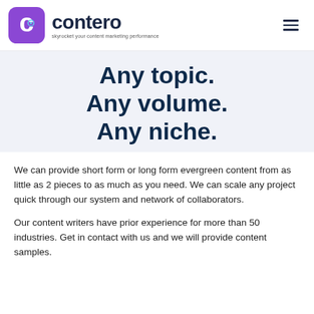contero — skyrocket your content marketing performance
Any topic. Any volume. Any niche.
We can provide short form or long form evergreen content from as little as 2 pieces to as much as you need. We can scale any project quick through our system and network of collaborators.
Our content writers have prior experience for more than 50 industries. Get in contact with us and we will provide content samples.